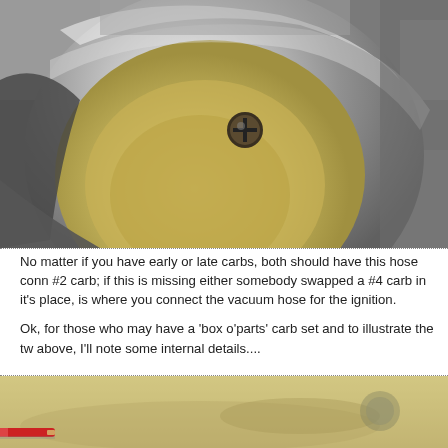[Figure (photo): Close-up macro photograph of a carburetor throat/bore showing the interior with a silvery aluminum rim, a Phillips screw visible inside the bore, and a yellowish/brass interior surface. The view is looking directly into the carburetor inlet.]
No matter if you have early or late carbs, both should have this hose conn #2 carb; if this is missing either somebody swapped a #4 carb in it's place, is where you connect the vacuum hose for the ignition.
Ok, for those who may have a 'box o'parts' carb set and to illustrate the tw above, I'll note some internal details....
[Figure (photo): Partial view of carburetor parts on a yellowish surface, with a red marker or pencil visible at the bottom left edge.]